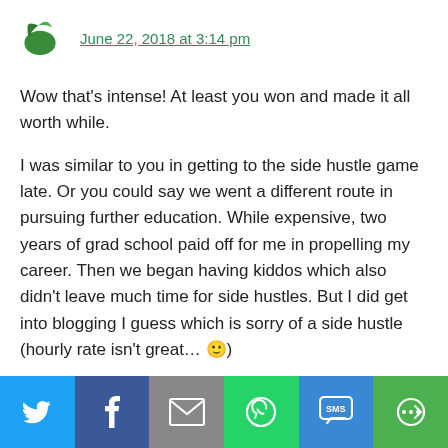[Figure (illustration): Green bird/swan avatar icon]
June 22, 2018 at 3:14 pm
Wow that's intense! At least you won and made it all worth while.
I was similar to you in getting to the side hustle game late. Or you could say we went a different route in pursuing further education. While expensive, two years of grad school paid off for me in propelling my career. Then we began having kiddos which also didn't leave much time for side hustles. But I did get into blogging I guess which is sorry of a side hustle (hourly rate isn't great… 🙂)
[Figure (infographic): Social share bar with Twitter, Facebook, Email, WhatsApp, SMS, and More buttons]